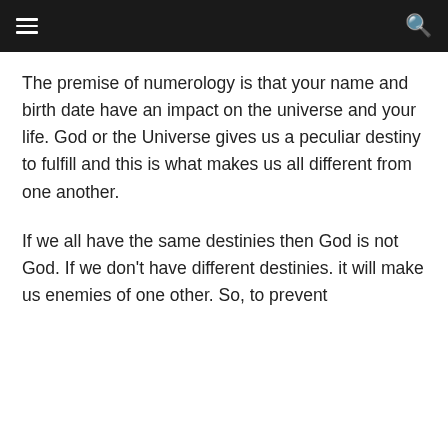The premise of numerology is that your name and birth date have an impact on the universe and your life. God or the Universe gives us a peculiar destiny to fulfill and this is what makes us all different from one another.
If we all have the same destinies then God is not God. If we don't have different destinies. it will make us enemies of one other. So, to prevent